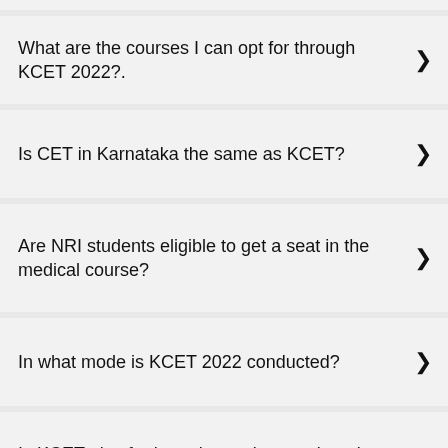What are the courses I can opt for through KCET 2022?.
Is CET in Karnataka the same as KCET?
Are NRI students eligible to get a seat in the medical course?
In what mode is KCET 2022 conducted?
Is KCET also for lateral entry into engineering courses?